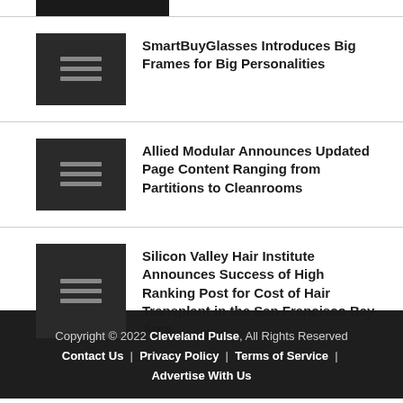SmartBuyGlasses Introduces Big Frames for Big Personalities
Allied Modular Announces Updated Page Content Ranging from Partitions to Cleanrooms
Silicon Valley Hair Institute Announces Success of High Ranking Post for Cost of Hair Transplant in the San Francisco Bay Area
Copyright © 2022 Cleveland Pulse, All Rights Reserved | Contact Us | Privacy Policy | Terms of Service | Advertise With Us